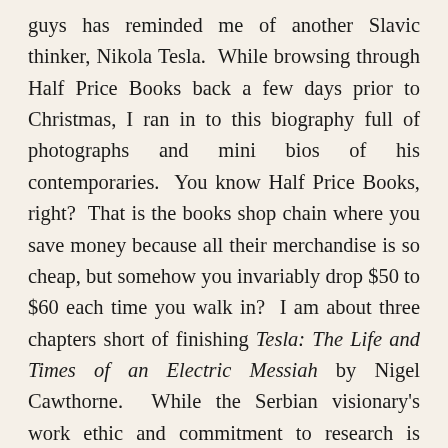guys has reminded me of another Slavic thinker, Nikola Tesla.  While browsing through Half Price Books back a few days prior to Christmas, I ran in to this biography full of photographs and mini bios of his contemporaries.  You know Half Price Books, right?  That is the books shop chain where you save money because all their merchandise is so cheap, but somehow you invariably drop $50 to $60 each time you walk in?  I am about three chapters short of finishing Tesla: The Life and Times of an Electric Messiah by Nigel Cawthorne.  While the Serbian visionary's work ethic and commitment to research is something beyond what I am capable of, it does provide me something to marvel at in the new year.